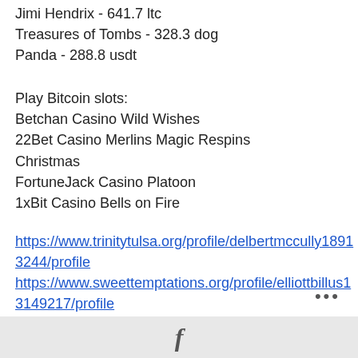Jimi Hendrix - 641.7 ltc
Treasures of Tombs - 328.3 dog
Panda - 288.8 usdt
Play Bitcoin slots:
Betchan Casino Wild Wishes
22Bet Casino Merlins Magic Respins Christmas
FortuneJack Casino Platoon
1xBit Casino Bells on Fire
https://www.trinitytulsa.org/profile/delbertmccully18913244/profile
https://www.sweettemptations.org/profile/elliottbillus13149217/profile
https://www.lovehealthbeyond.com/profile/ginopenhollow11251273/profile
https://www.amapiano.com/profile/danialsevere11327942/profile